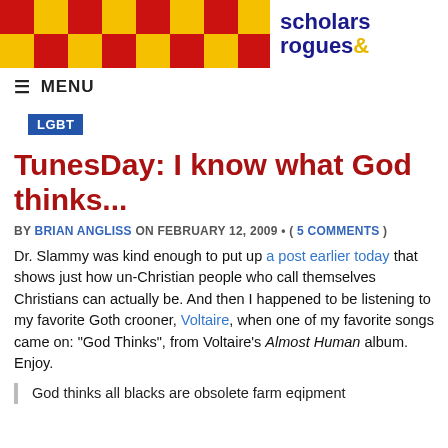scholars & rogues
MENU
LGBT
TunesDay: I know what God thinks...
BY BRIAN ANGLISS ON FEBRUARY 12, 2009 • ( 5 COMMENTS )
Dr. Slammy was kind enough to put up a post earlier today that shows just how un-Christian people who call themselves Christians can actually be. And then I happened to be listening to my favorite Goth crooner, Voltaire, when one of my favorite songs came on: "God Thinks", from Voltaire's Almost Human album. Enjoy.
God thinks all blacks are obsolete farm eqipment